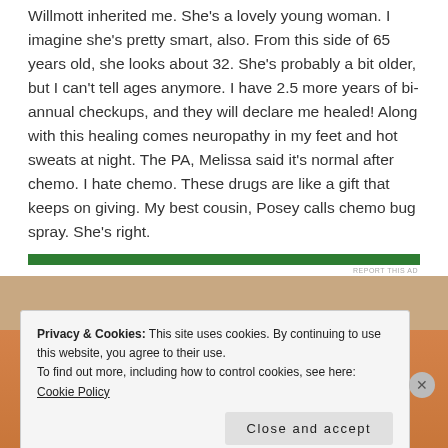Willmott inherited me. She's a lovely young woman. I imagine she's pretty smart, also. From this side of 65 years old, she looks about 32. She's probably a bit older, but I can't tell ages anymore. I have 2.5 more years of bi-annual checkups, and they will declare me healed! Along with this healing comes neuropathy in my feet and hot sweats at night. The PA, Melissa said it's normal after chemo. I hate chemo. These drugs are like a gift that keeps on giving. My best cousin, Posey calls chemo bug spray. She's right.
[Figure (other): Green advertisement banner bar with 'REPORT THIS AD' text below]
Privacy & Cookies: This site uses cookies. By continuing to use this website, you agree to their use.
To find out more, including how to control cookies, see here: Cookie Policy
Close and accept